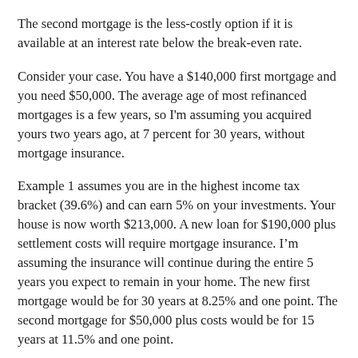The second mortgage is the less-costly option if it is available at an interest rate below the break-even rate.
Consider your case. You have a $140,000 first mortgage and you need $50,000. The average age of most refinanced mortgages is a few years, so I'm assuming you acquired yours two years ago, at 7 percent for 30 years, without mortgage insurance.
Example 1 assumes you are in the highest income tax bracket (39.6%) and can earn 5% on your investments. Your house is now worth $213,000. A new loan for $190,000 plus settlement costs will require mortgage insurance. I'm assuming the insurance will continue during the entire 5 years you expect to remain in your home. The new first mortgage would be for 30 years at 8.25% and one point. The second mortgage for $50,000 plus costs would be for 15 years at 11.5% and one point.